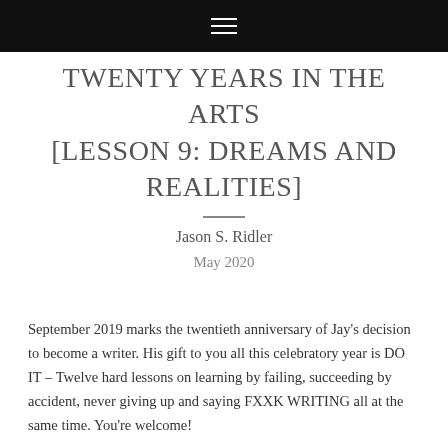☰
TWENTY YEARS IN THE ARTS [LESSON 9: DREAMS AND REALITIES]
Jason S. Ridler
May 2020
September 2019 marks the twentieth anniversary of Jay's decision to become a writer. His gift to you all this celebratory year is DO IT – Twelve hard lessons on learning by failing, succeeding by accident, never giving up and saying FXXK WRITING all at the same time. You're welcome!